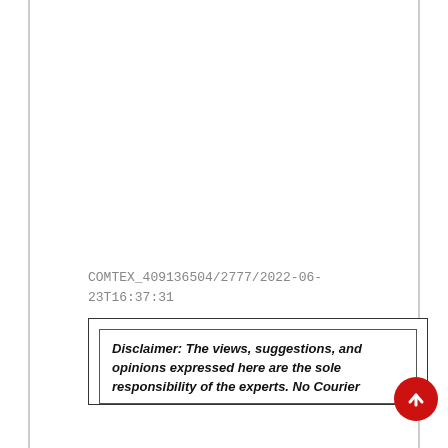COMTEX_409136504/2777/2022-06-23T16:37:31
Disclaimer: The views, suggestions, and opinions expressed here are the sole responsibility of the experts. No Courier